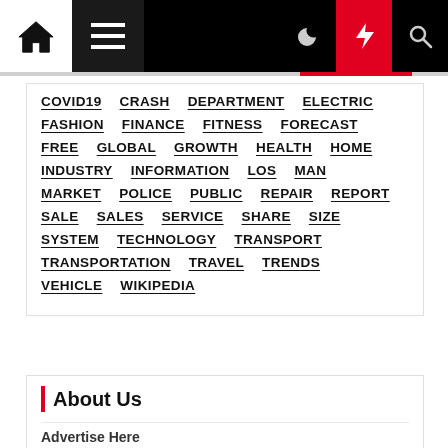Navigation bar with home, menu, moon, bolt, and search icons
COVID19 CRASH DEPARTMENT ELECTRIC FASHION FINANCE FITNESS FORECAST FREE GLOBAL GROWTH HEALTH HOME INDUSTRY INFORMATION LOS MAN MARKET POLICE PUBLIC REPAIR REPORT SALE SALES SERVICE SHARE SIZE SYSTEM TECHNOLOGY TRANSPORT TRANSPORTATION TRAVEL TRENDS VEHICLE WIKIPEDIA
About Us
Advertise Here